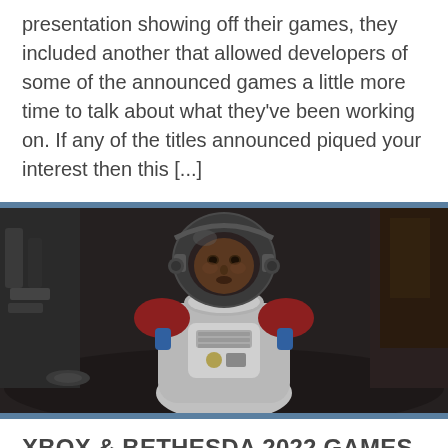presentation showing off their games, they included another that allowed developers of some of the announced games a little more time to talk about what they've been working on. If any of the titles announced piqued your interest then this [...]
[Figure (photo): A person wearing a detailed space suit with a helmet, red and white suit body with mechanical chest piece, in a dark environment. Screenshot from a video game (likely Starfield).]
XBOX & BETHESDA 2022 GAMES SHOWCASE (ROUND 1) – THE ANNOUNCEMENTS